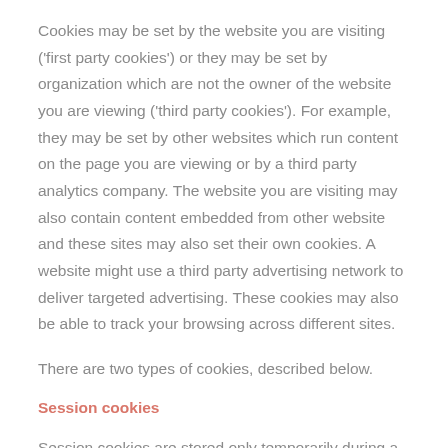Cookies may be set by the website you are visiting ('first party cookies') or they may be set by organization which are not the owner of the website you are viewing ('third party cookies'). For example, they may be set by other websites which run content on the page you are viewing or by a third party analytics company. The website you are visiting may also contain content embedded from other website and these sites may also set their own cookies. A website might use a third party advertising network to deliver targeted advertising. These cookies may also be able to track your browsing across different sites.
There are two types of cookies, described below.
Session cookies
Session cookies are stored only temporarily during a browsing session and are deleted from your device when